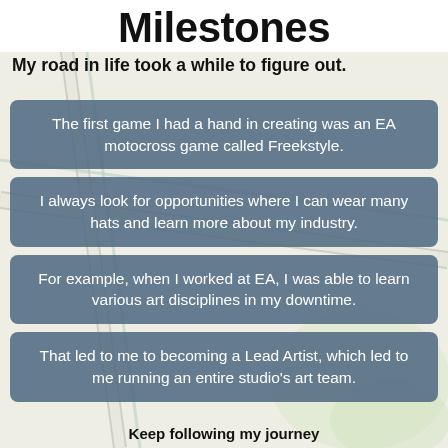Milestones
My road in life took a while to figure out.
The first game I had a hand in creating was an EA motocross game called Freekstyle.
I always look for opportunities where I can wear many hats and learn more about my industry.
For example, when I worked at EA, I was able to learn various art disciplines in my downtime.
That led to me to becoming a Lead Artist, which led to me running an entire studio's art team.
Keep following my journey